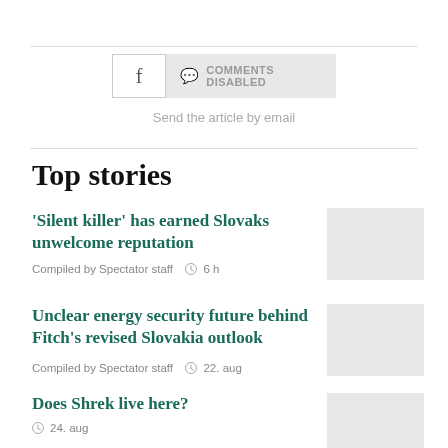[Figure (other): Facebook share button and Comments Disabled button]
Send the article by email
Top stories
'Silent killer' has earned Slovaks unwelcome reputation
Compiled by Spectator staff  6 h
[Figure (photo): Thumbnail image placeholder for first story]
Unclear energy security future behind Fitch's revised Slovakia outlook
Compiled by Spectator staff  22. aug
[Figure (photo): Thumbnail image placeholder for second story]
Does Shrek live here?
24. aug
[Figure (photo): Thumbnail image placeholder for third story]